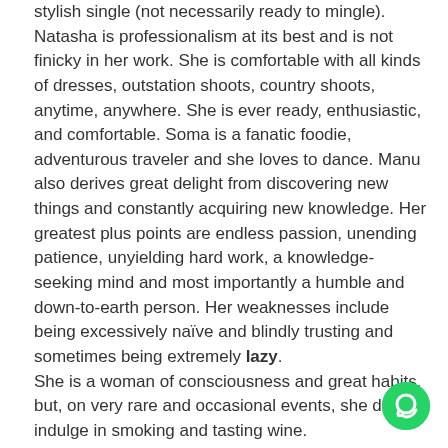stylish single (not necessarily ready to mingle). Natasha is professionalism at its best and is not finicky in her work. She is comfortable with all kinds of dresses, outstation shoots, country shoots, anytime, anywhere. She is ever ready, enthusiastic, and comfortable. Soma is a fanatic foodie, adventurous traveler and she loves to dance. Manu also derives great delight from discovering new things and constantly acquiring new knowledge. Her greatest plus points are endless passion, unending patience, unyielding hard work, a knowledge-seeking mind and most importantly a humble and down-to-earth person. Her weaknesses include being excessively naïve and blindly trusting and sometimes being extremely lazy.
She is a woman of consciousness and great habits, but, on very rare and occasional events, she does indulge in smoking and tasting wine.
Just like you and me, Manu is full of endearing childhood memories. She reveals filling her mouth with water and throwing tantrums to avoid eating meals whenever she did